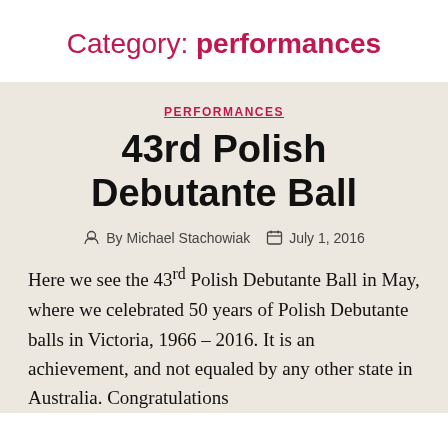Category: performances
PERFORMANCES
43rd Polish Debutante Ball
By Michael Stachowiak   July 1, 2016
Here we see the 43rd Polish Debutante Ball in May, where we celebrated 50 years of Polish Debutante balls in Victoria, 1966 – 2016. It is an achievement, and not equaled by any other state in Australia. Congratulations